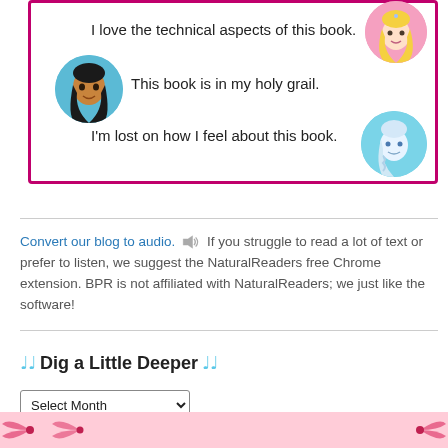[Figure (illustration): Pink-bordered box with three Disney princess avatar circles (Moana, Aurora, Elsa) and three book opinion quotes]
Convert our blog to audio. [speaker icon] If you struggle to read a lot of text or prefer to listen, we suggest the NaturalReaders free Chrome extension. BPR is not affiliated with NaturalReaders; we just like the software!
🎵 Dig a Little Deeper 🎵
Select Month [dropdown]
[Figure (illustration): Pink decorative bottom strip with ribbon/bow designs]